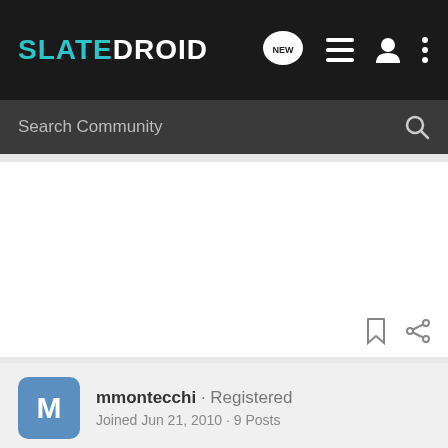SLATEDROID
Search Community
mmontecchi · Registered
Joined Jun 21, 2010 · 9 Posts
#2 · Jul 21, 2010
no mention on the Eken web site !!